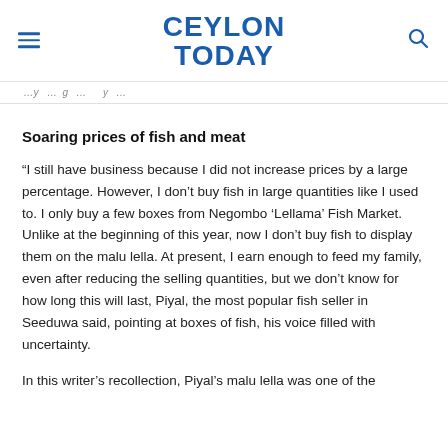CEYLON TODAY
...y ... g ... y ...
Soaring prices of fish and meat
“I still have business because I did not increase prices by a large percentage. However, I don’t buy fish in large quantities like I used to. I only buy a few boxes from Negombo ‘Lellama’ Fish Market. Unlike at the beginning of this year, now I don’t buy fish to display them on the malu lella. At present, I earn enough to feed my family, even after reducing the selling quantities, but we don’t know for how long this will last, Piyal, the most popular fish seller in Seeduwa said, pointing at boxes of fish, his voice filled with uncertainty.
In this writer’s recollection, Piyal’s malu lella was one of the